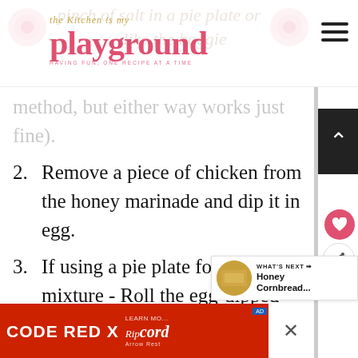The Kitchen is my Playground — HAVING FUN, ONE RECIPE AT A TIME
pinch of salt in a pie plate or like the baggie method, but either way works just fine).
2. Remove a piece of chicken from the honey marinade and dip it in egg.
3. If using a pie plate for your flour mixture - Roll the egg-dipped chicken nugget in flour mixture, coating completely, set aside. Repeat
[Figure (other): WHAT'S NEXT promo box with thumbnail of Honey Cornbread]
[Figure (other): CODE RED X advertisement banner for Ripcord Arrow Rest]